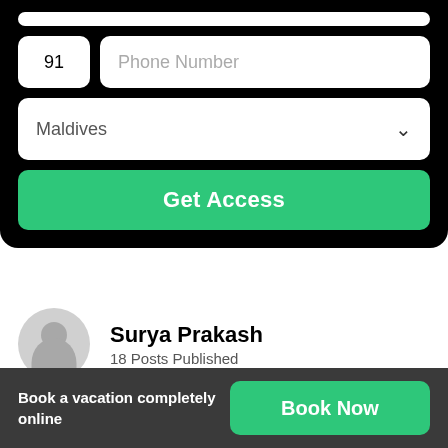[Figure (screenshot): Mobile app UI showing a form with phone number field (code 91), Phone Number placeholder input, a dropdown showing 'Maldives' with chevron, and a green 'Get Access' button, all on black background]
[Figure (photo): User profile avatar - circular grey placeholder icon]
Surya Prakash
18 Posts Published
Book a vacation completely online
Book Now